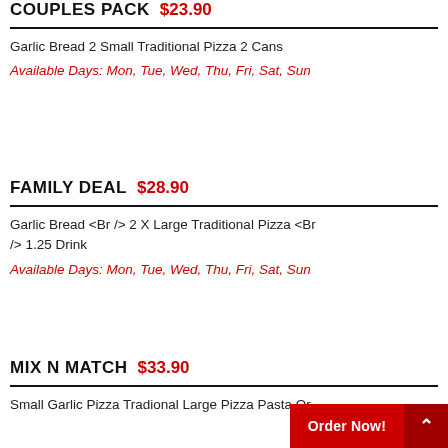COUPLES PACK $23.90
Garlic Bread 2 Small Traditional Pizza 2 Cans
Available Days: Mon, Tue, Wed, Thu, Fri, Sat, Sun
FAMILY DEAL $28.90
Garlic Bread <Br /> 2 X Large Traditional Pizza <Br /> 1.25 Drink
Available Days: Mon, Tue, Wed, Thu, Fri, Sat, Sun
MIX N MATCH $33.90
Small Garlic Pizza Tradional Large Pizza Pasta Or